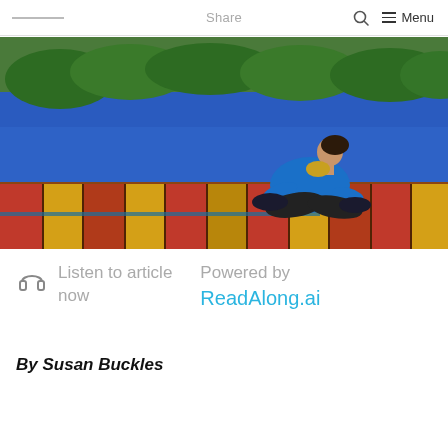Share  Menu
[Figure (photo): Woman in blue jacket sitting cross-legged on a colorful weathered wooden dock, head tilted back, in front of a blue lake with forested shoreline in background.]
Listen to article now
Powered by ReadAlong.ai
By Susan Buckles